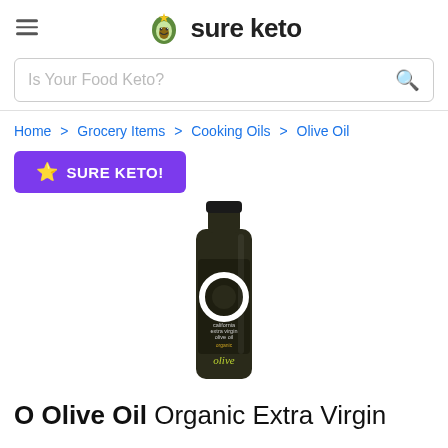sure keto
Is Your Food Keto?
Home > Grocery Items > Cooking Oils > Olive Oil
SURE KETO!
[Figure (photo): O Olive Oil bottle - California Extra Virgin Olive Oil Organic, dark glass bottle with black label featuring large white circle O logo and olive script text]
O Olive Oil Organic Extra Virgin Olive Oil